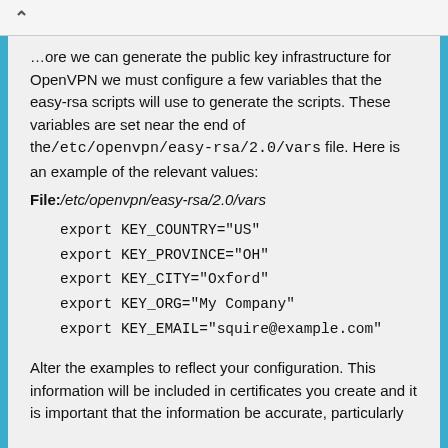Before we can generate the public key infrastructure for OpenVPN we must configure a few variables that the easy-rsa scripts will use to generate the scripts. These variables are set near the end of the /etc/openvpn/easy-rsa/2.0/vars file. Here is an example of the relevant values:
File:/etc/openvpn/easy-rsa/2.0/vars
export KEY_COUNTRY="US"
export KEY_PROVINCE="OH"
export KEY_CITY="Oxford"
export KEY_ORG="My Company"
export KEY_EMAIL="squire@example.com"
Alter the examples to reflect your configuration. This information will be included in certificates you create and it is important that the information be accurate, particularly